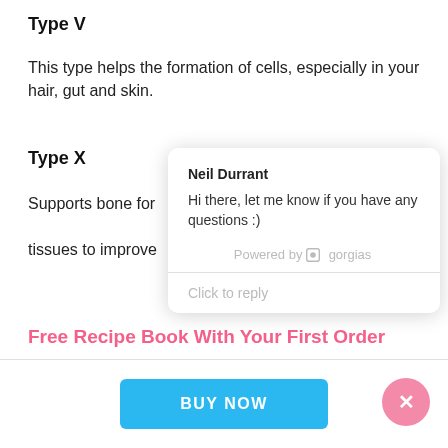Type V
This type helps the formation of cells, especially in your hair, gut and skin.
Type X
Supports bone for... tissues to improve...
[Figure (screenshot): A chat popup from Neil Durrant saying 'Hi there, let me know if you have any questions :)' with 'Powered by gorgias' and a 'Click to reply' input area.]
Free Recipe Book With Your First Order
BUY NOW